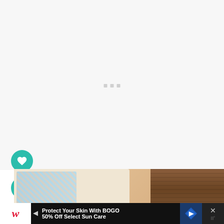[Figure (screenshot): Loading screen / blank white area with three small grey dots (loading indicator) centered in the upper portion]
[Figure (photo): Partial photo of a colorful children's activity board/book with illustrated characters, placed on a wooden surface, visible at bottom of page]
[Figure (screenshot): Advertisement banner at bottom: Walgreens ad reading 'Protect Your Skin With BOGO 50% Off Select Sun Care' with Walgreens logo, blue diamond arrow icon, and close button]